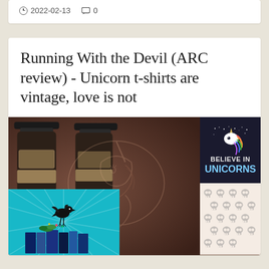2022-02-13  0
Running With the Devil (ARC review) - Unicorn t-shirts are vintage, love is not
[Figure (photo): Composite image showing dark glass bottles wrapped in twine, overlaid with a watermark unicorn illustration, alongside a 'Believe in Unicorns' graphic panel and a skull-patterned fabric. Bottom left shows a teal book cover with a crow.]